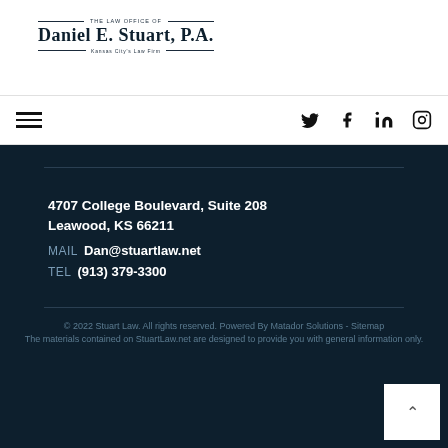THE LAW OFFICE OF Daniel E. Stuart, P.A. — Kansas City's Law Firm —
[Figure (logo): Law office logo with decorative rules and text: THE LAW OFFICE OF / Daniel E. Stuart, P.A. / Kansas City's Law Firm]
[Figure (infographic): Navigation bar with hamburger menu icon on left and social media icons (Twitter, Facebook, LinkedIn, Instagram) on right]
4707 College Boulevard, Suite 208 Leawood, KS 66211
MAIL Dan@stuartlaw.net
TEL (913) 379-3300
© 2022 Stuart Law. All rights reserved. Powered By Matador Solutions - Sitemap The materials contained on StuartLaw.net are designed to provide you with general information only.